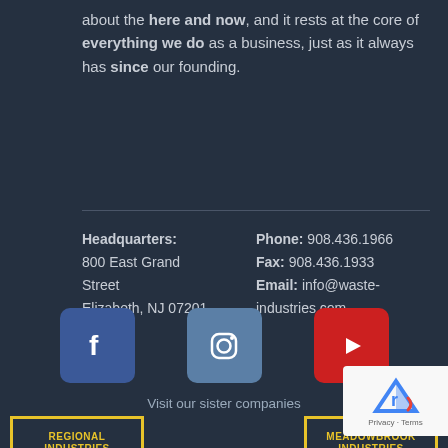about the here and now, and it rests at the core of everything we do as a business, just as it always has since our founding.
Headquarters: 800 East Grand Street Elizabeth, NJ 07201
Phone: 908.436.1966 Fax: 908.436.1933 Email: info@waste-industries.com
[Figure (logo): Facebook icon - blue square with white f]
[Figure (logo): Instagram icon - grey-blue square with white camera outline]
[Figure (logo): YouTube icon - red square with white play button]
Visit our sister companies
[Figure (logo): Regional Industries logo - yellow bordered box with yellow bold text]
[Figure (logo): Meadowbrook Industries logo - yellow bordered box with yellow bold text]